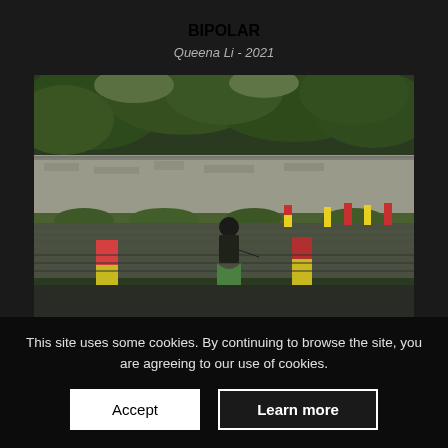BIPOLAR
Queena Li - 2021
[Figure (photo): A person in a dark top and green skirt stands at a railing looking out over a canal or waterway. Yellow and red bollards line the railing. A long concrete wall with graffiti runs along the far bank, with dense green trees behind it. The water reflects the scene.]
This site uses some cookies. By continuing to browse the site, you are agreeing to our use of cookies.